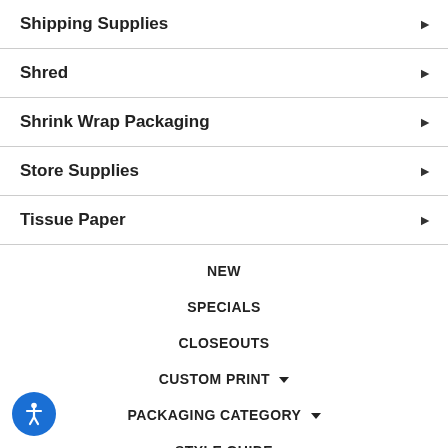Shipping Supplies
Shred
Shrink Wrap Packaging
Store Supplies
Tissue Paper
NEW
SPECIALS
CLOSEOUTS
CUSTOM PRINT ▼
PACKAGING CATEGORY ▼
STYLE GUIDE
BLOG